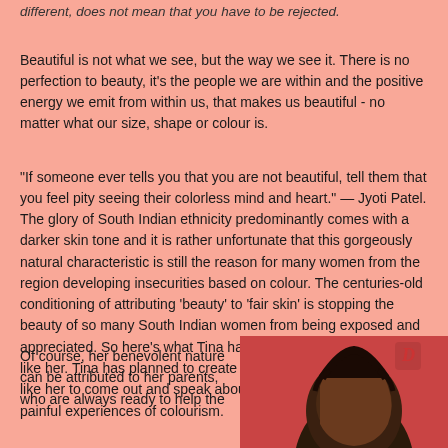different, does not mean that you have to be rejected.
Beautiful is not what we see, but the way we see it. There is no perfection to beauty, it's the people we are within and the positive energy we emit from within us, that makes us beautiful - no matter what our size, shape or colour is.
“If someone ever tells you that you are not beautiful, tell them that you feel pity seeing their colorless mind and heart.” — Jyoti Patel. The glory of South Indian ethnicity predominantly comes with a darker skin tone and it is rather unfortunate that this gorgeously natural characteristic is still the reason for many women from the region developing insecurities based on colour. The centuries-old conditioning of attributing ‘beauty’ to ‘fair skin’ is stopping the beauty of so many South Indian women from being exposed and appreciated. So here’s what Tina has done to help many others like her. Tina has planned to create a safe space for other DSBs like her to come out and speak about their feelings and their painful experiences of colourism.
Of course, her benevolent nature can be attributed to her parents, who are always ready to help the
[Figure (photo): A photo of a woman with dark hair against a red background, partially visible at bottom right of the page. A watermark logo is visible in the top right corner of the photo.]